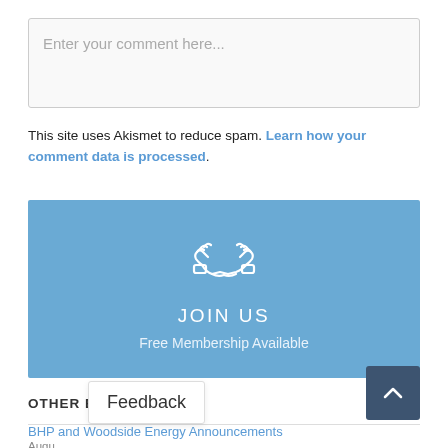Enter your comment here...
This site uses Akismet to reduce spam. Learn how your comment data is processed.
[Figure (infographic): Blue banner with handshake icon, text JOIN US and Free Membership Available]
OTHER BLOG POSTS
BHP and Woodside Energy Announcements
Augu...
In M... oldsworth
Feedback